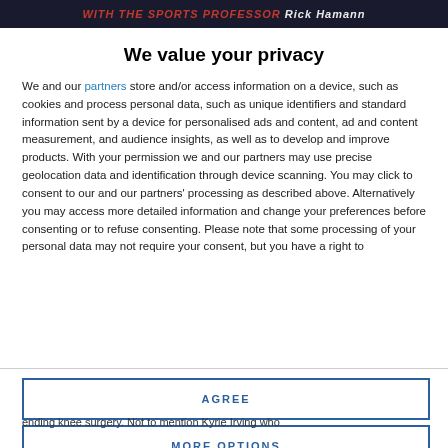[Figure (screenshot): Dark banner at the top with red italic text reading 'WITH THE SPORTS PROFESSOR Rick Hamann']
We value your privacy
We and our partners store and/or access information on a device, such as cookies and process personal data, such as unique identifiers and standard information sent by a device for personalised ads and content, ad and content measurement, and audience insights, as well as to develop and improve products. With your permission we and our partners may use precise geolocation data and identification through device scanning. You may click to consent to our and our partners' processing as described above. Alternatively you may access more detailed information and change your preferences before consenting or to refuse consenting. Please note that some processing of your personal data may not require your consent, but you have a right to
AGREE
MORE OPTIONS
ending knee surgery. Not to mention Kyrie Irving who